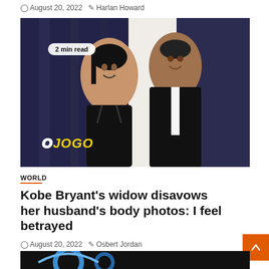August 20, 2022  Harlan Howard
[Figure (photo): A couple (woman and tall man) dressed in formal black attire smiling at camera, dark blue background, with '2 min read' badge and 'OJOGO' logo overlay]
WORLD
Kobe Bryant's widow disavows her husband's body photos: I feel betrayed
August 20, 2022  Osbert Jordan
[Figure (photo): Partial view of another article image below, showing a blue circular graphic on dark background]